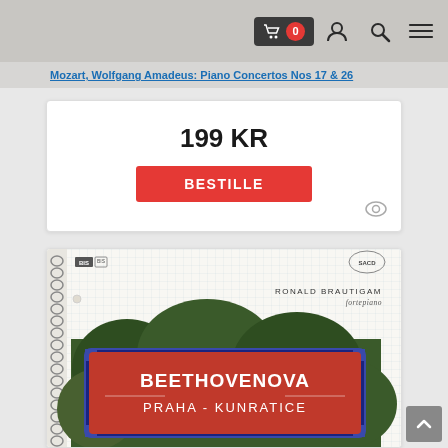Navigation bar with cart (0), user, search, menu icons
Mozart, Wolfgang Amadeus: Piano Concertos Nos 17 & 26
199 KR
BESTILLE
[Figure (screenshot): Album cover for Ronald Brautigam fortepiano - Beethovenova Praha-Kunratice, Volume 7, on BIS SACD label. Shows a notebook-style cover with spiral binding and grid paper, featuring a Czech street sign reading BEETHOVENOVA PRAHA - KUNRATICE in white text on red background, surrounded by trees.]